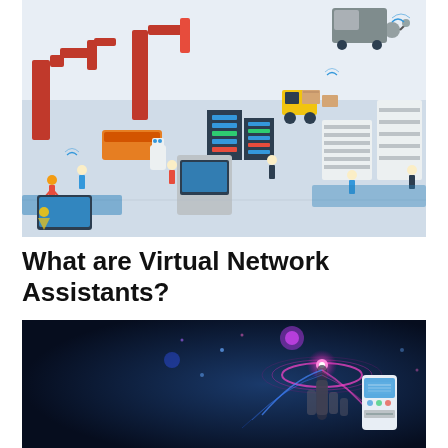[Figure (illustration): Isometric illustration of a smart factory/industrial scene with robots, workers, machinery, conveyor belts, forklifts, drones, server racks, and warehouse shelves in a colorful flat design style.]
What are Virtual Network Assistants?
[Figure (illustration): Dark blue background tech illustration showing a robotic or futuristic hand/figure with glowing pink/blue holographic ring and light effects, alongside a white robotic device.]